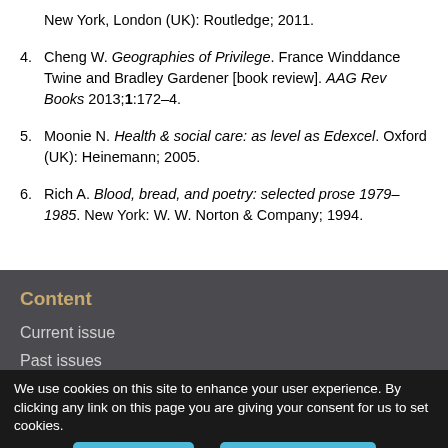New York, London (UK): Routledge; 2011.
Cheng W. Geographies of Privilege. France Winddance Twine and Bradley Gardener [book review]. AAG Rev Books 2013;1:172–4.
Moonie N. Health & social care: as level as Edexcel. Oxford (UK): Heinemann; 2005.
Rich A. Blood, bread, and poetry: selected prose 1979–1985. New York: W. W. Norton & Company; 1994.
Content
Current issue
Past issues
We use cookies on this site to enhance your user experience. By clicking any link on this page you are giving your consent for us to set cookies.